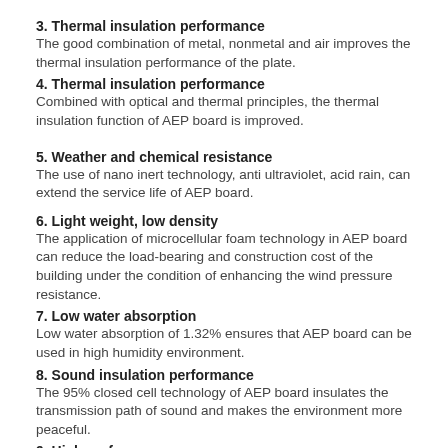3. Thermal insulation performance
The good combination of metal, nonmetal and air improves the thermal insulation performance of the plate.
4. Thermal insulation performance
Combined with optical and thermal principles, the thermal insulation function of AEP board is improved.
5. Weather and chemical resistance
The use of nano inert technology, anti ultraviolet, acid rain, can extend the service life of AEP board.
6. Light weight, low density
The application of microcellular foam technology in AEP board can reduce the load-bearing and construction cost of the building under the condition of enhancing the wind pressure resistance.
7. Low water absorption
Low water absorption of 1.32% ensures that AEP board can be used in high humidity environment.
8. Sound insulation performance
The 95% closed cell technology of AEP board insulates the transmission path of sound and makes the environment more peaceful.
9. High performance
The height of 6 meters makes the wood decoration board far away